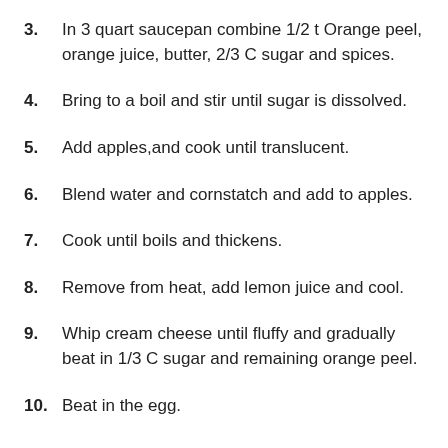3. In 3 quart saucepan combine 1/2 t Orange peel, orange juice, butter, 2/3 C sugar and spices.
4. Bring to a boil and stir until sugar is dissolved.
5. Add apples,and cook until translucent.
6. Blend water and cornstatch and add to apples.
7. Cook until boils and thickens.
8. Remove from heat, add lemon juice and cool.
9. Whip cream cheese until fluffy and gradually beat in 1/3 C sugar and remaining orange peel.
10. Beat in the egg.